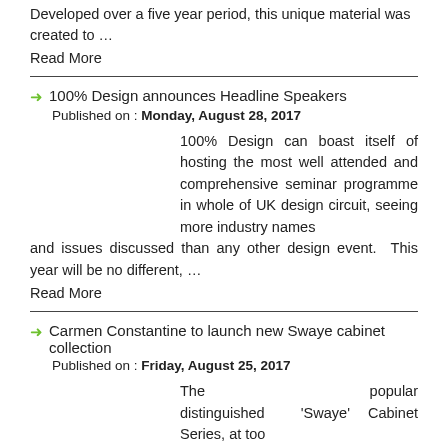Developed over a five year period, this unique material was created to …
Read More
100% Design announces Headline Speakers
Published on : Monday, August 28, 2017
100% Design can boast itself of hosting the most well attended and comprehensive seminar programme in whole of UK design circuit, seeing more industry names and issues discussed than any other design event. This year will be no different, …
Read More
Carmen Constantine to launch new Swaye cabinet collection
Published on : Friday, August 25, 2017
The popular distinguished 'Swaye' Cabinet Series, at too